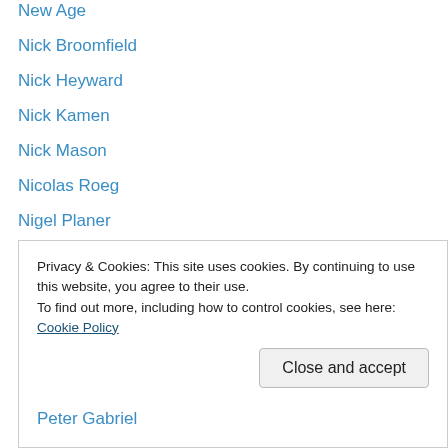New Age
Nick Broomfield
Nick Heyward
Nick Kamen
Nick Mason
Nicolas Roeg
Nigel Planer
Nik Kershaw
Nile Rodgers
Nine 1/2 Weeks
Number Ones
Obituaries
Omar Hakim
One Hit Wonders
Privacy & Cookies: This site uses cookies. By continuing to use this website, you agree to their use.
To find out more, including how to control cookies, see here: Cookie Policy
Peter Gabriel